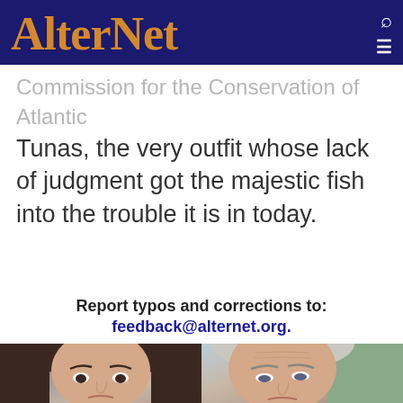AlterNet
Commission for the Conservation of Atlantic Tunas, the very outfit whose lack of judgment got the majestic fish into the trouble it is in today.
Report typos and corrections to: feedback@alternet.org.
[Figure (photo): Side-by-side photos of two people: a woman with dark hair on the left and an older man on the right, both photographed from the shoulders up.]